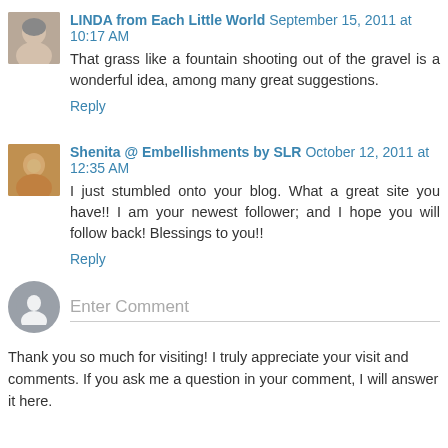LINDA from Each Little World  September 15, 2011 at 10:17 AM
That grass like a fountain shooting out of the gravel is a wonderful idea, among many great suggestions.
Reply
Shenita @ Embellishments by SLR  October 12, 2011 at 12:35 AM
I just stumbled onto your blog. What a great site you have!! I am your newest follower; and I hope you will follow back! Blessings to you!!
Reply
Enter Comment
Thank you so much for visiting! I truly appreciate your visit and comments. If you ask me a question in your comment, I will answer it here.